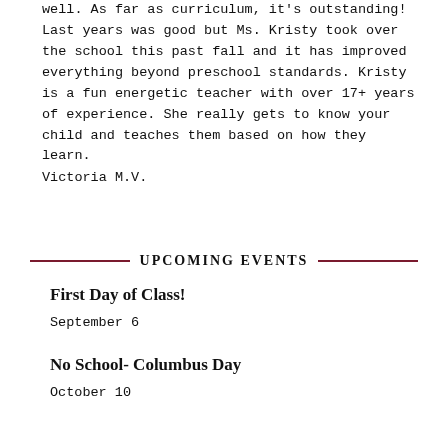well. As far as curriculum, it's outstanding! Last years was good but Ms. Kristy took over the school this past fall and it has improved everything beyond preschool standards. Kristy is a fun energetic teacher with over 17+ years of experience. She really gets to know your child and teaches them based on how they learn.
Victoria M.V.
UPCOMING EVENTS
First Day of Class!
September 6
No School- Columbus Day
October 10